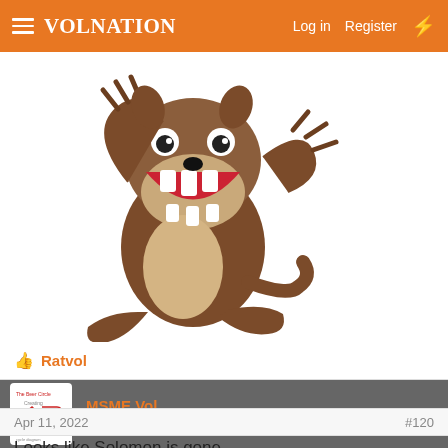VolNation   Log in   Register
[Figure (illustration): Cartoon Tasmanian Devil (Taz) from Looney Tunes, brown furry character with open mouth showing sharp teeth and claws raised]
👍 Ratvol
MSME Vol
Well-Known Member
Apr 11, 2022   #120
Looks like Solomon is gone